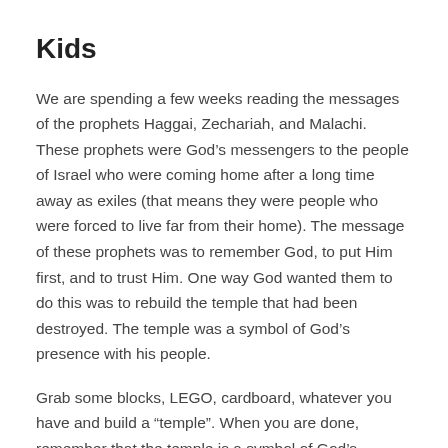Kids
We are spending a few weeks reading the messages of the prophets Haggai, Zechariah, and Malachi. These prophets were God’s messengers to the people of Israel who were coming home after a long time away as exiles (that means they were people who were forced to live far from their home). The message of these prophets was to remember God, to put Him first, and to trust Him. One way God wanted them to do this was to rebuild the temple that had been destroyed. The temple was a symbol of God’s presence with his people.
Grab some blocks, LEGO, cardboard, whatever you have and build a “temple”. When you are done, remember that the temple is a symbol of God’s presence with us. It is a